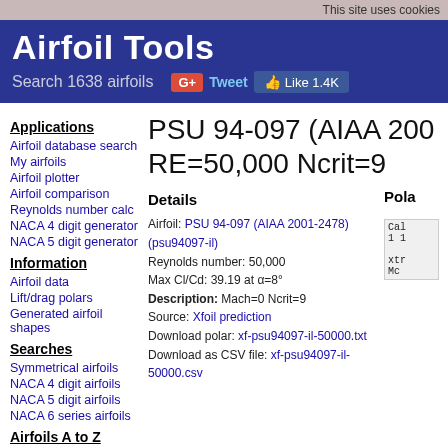This site uses cookies
Airfoil Tools
Search 1638 airfoils
PSU 94-097 (AIAA 2001-2478) RE=50,000 Ncrit=9
Applications
Airfoil database search
My airfoils
Airfoil plotter
Airfoil comparison
Reynolds number calc
NACA 4 digit generator
NACA 5 digit generator
Information
Airfoil data
Lift/drag polars
Generated airfoil shapes
Searches
Symmetrical airfoils
NACA 4 digit airfoils
NACA 5 digit airfoils
NACA 6 series airfoils
Airfoils A to Z
A  a18 to avistar (88)
B  b29root to bw3 (22)
Details
Airfoil: PSU 94-097 (AIAA 2001-2478) (psu94097-il)
Reynolds number: 50,000
Max Cl/Cd: 39.19 at α=8°
Description: Mach=0 Ncrit=9
Source: Xfoil prediction
Download polar: xf-psu94097-il-50000.txt
Download as CSV file: xf-psu94097-il-50000.csv
Pola
Cal
1 1
xtr
Mc